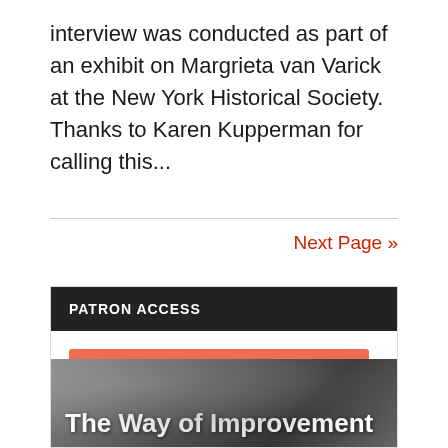interview was conducted as part of an exhibit on Margrieta van Varick at the New York Historical Society. Thanks to Karen Kupperman for calling this...
Next Page »
PATRON ACCESS
[Figure (other): Orange button with Patreon logo icon and text LOG IN WITH PATREON]
[Figure (photo): Grayscale banner image with bold white text reading 'The Way of Improvement']